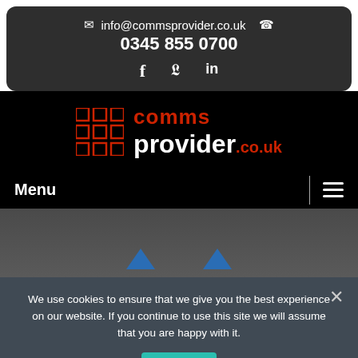✉ info@commsprovider.co.uk  ☎ 0345 855 0700
[Figure (logo): Comms Provider logo with red grid squares and text 'comms provider.co.uk']
Menu
[Figure (photo): Dark background image with two blue upward-pointing triangles]
We use cookies to ensure that we give you the best experience on our website. If you continue to use this site we will assume that you are happy with it.